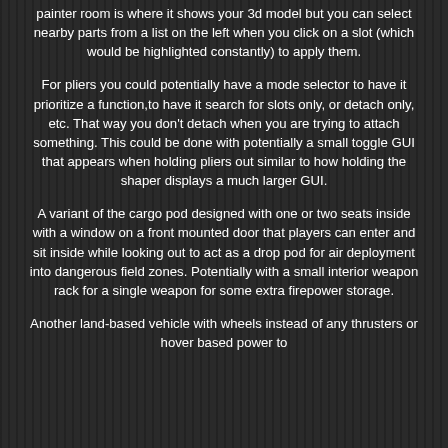painter room is where it shows your 3d model but you can select nearby parts from a list on the left when you click on a slot (which would be highlighted constantly) to apply them.
For pliers you could potentially have a mode selector to have it prioritize a function,to have it search for slots only, or detach only, etc. That way you don't detach when you are trying to attach something. This could be done with potentially a small toggle GUI that appears when holding pliers out similar to how holding the shaper displays a much larger GUI.
A variant of the cargo pod designed with one or two seats inside with a window on a front mounted door that players can enter and sit inside while looking out to act as a drop pod for air deployment into dangerous field zones. Potentially with a small interior weapon rack for a single weapon for some extra firepower storage.
Another land-based vehicle with wheels instead of any thrusters or hover based power to